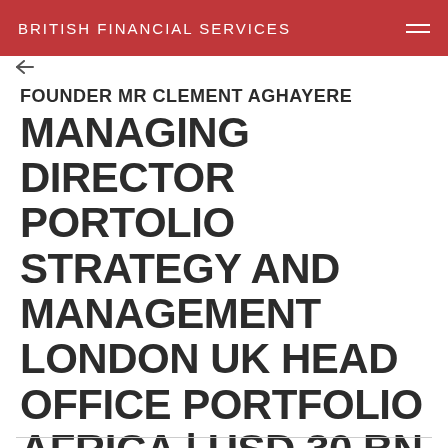BRITISH FINANCIAL SERVICES
FOUNDER MR CLEMENT AGHAYERE MANAGING DIRECTOR PORTOLIO STRATEGY AND MANAGEMENT LONDON UK HEAD OFFICE PORTFOLIO AFRICA | USD 30 BN